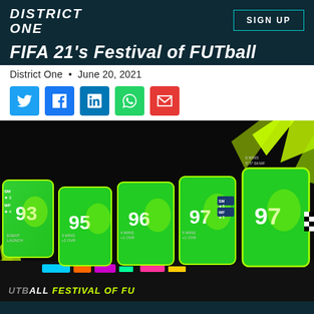DISTRICT ONE
FIFA 21's Festival of FUTball
District One • June 20, 2021
[Figure (screenshot): FIFA 21 Festival of FUTball player cards showing progression: EVENT LAUNCH (93 OVR), 3 WINS +2 OVR (95), 4 WINS +1 OVR (96), 5 WINS +1 OVR (97), 6 WINS 5* 5* SK/WF (97) — green neon glowing player cards on dark background with yellow lightning bolts. Bottom banner reads FUTBALL FESTIVAL OF FU...]